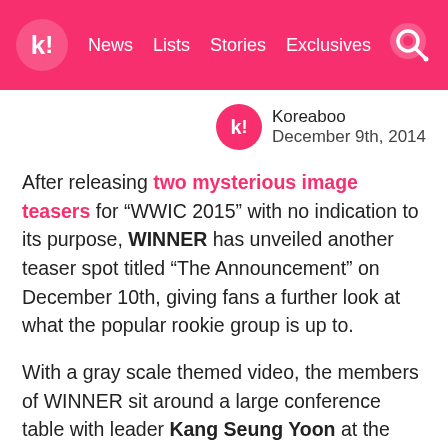k! News Lists Stories Exclusives
Koreaboo
December 9th, 2014
After releasing two mysterious image teasers for “WWIC 2015” with no indication to its purpose, WINNER has unveiled another teaser spot titled “The Announcement” on December 10th, giving fans a further look at what the popular rookie group is up to.
With a gray scale themed video, the members of WINNER sit around a large conference table with leader Kang Seung Yoon at the head as he proceeds with the meeting, explaining the annual global event of “Worldwide Inner Circle